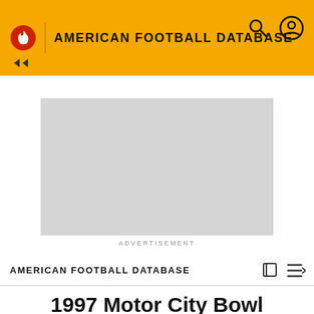AMERICAN FOOTBALL DATABASE
[Figure (other): Advertisement placeholder - grey rectangle]
ADVERTISEMENT
AMERICAN FOOTBALL DATABASE
1997 Motor City Bowl
[Figure (photo): Striped coral/dark purple diagonal pattern background with a dark-haired person in black clothing]